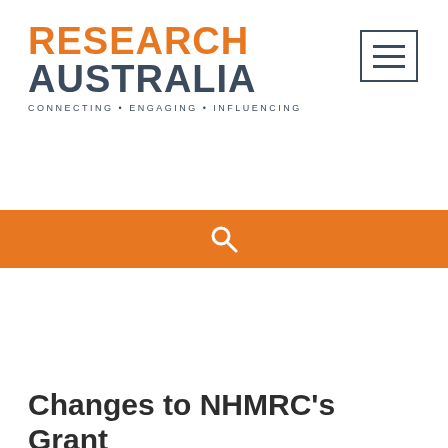RESEARCH AUSTRALIA — CONNECTING · ENGAGING · INFLUENCING
[Figure (logo): Research Australia logo with orange 'RESEARCH' text and dark 'AUSTRALIA' text, tagline 'CONNECTING · ENGAGING · INFLUENCING', hamburger menu icon top right]
Changes to NHMRC's Grant